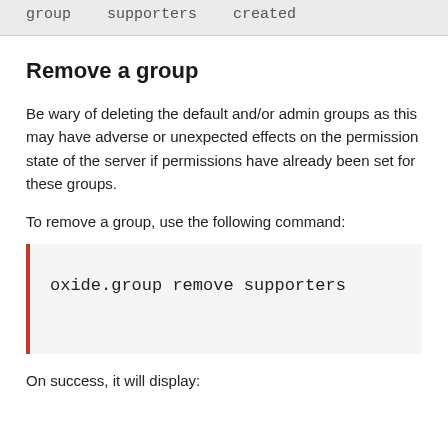group   supporters   created
Remove a group
Be wary of deleting the default and/or admin groups as this may have adverse or unexpected effects on the permission state of the server if permissions have already been set for these groups.
To remove a group, use the following command:
[Figure (screenshot): Code block showing command: oxide.group remove supporters]
On success, it will display: